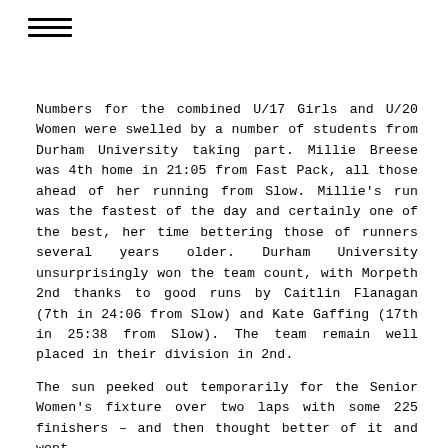[Figure (other): Hamburger menu icon with three horizontal lines]
Numbers for the combined U/17 Girls and U/20 Women were swelled by a number of students from Durham University taking part. Millie Breese was 4th home in 21:05 from Fast Pack, all those ahead of her running from Slow. Millie’s run was the fastest of the day and certainly one of the best, her time bettering those of runners several years older. Durham University unsurprisingly won the team count, with Morpeth 2nd thanks to good runs by Caitlin Flanagan (7th in 24:06 from Slow) and Kate Gaffing (17th in 25:38 from Slow). The team remain well placed in their division in 2nd.
The sun peeked out temporarily for the Senior Women’s fixture over two laps with some 225 finishers – and then thought better of it and went